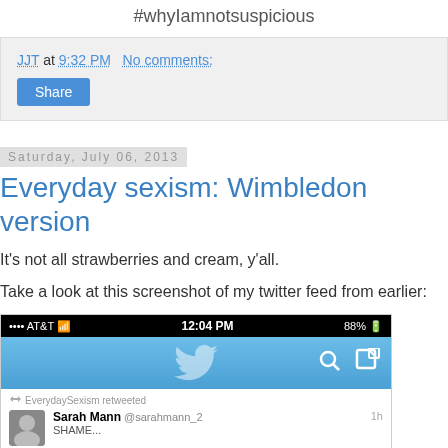#whyIamnotsuspicious
JJT at 9:32 PM   No comments:
Share
Saturday, July 06, 2013
Everyday sexism: Wimbledon version
It's not all strawberries and cream, y'all.
Take a look at this screenshot of my twitter feed from earlier:
[Figure (screenshot): iPhone Twitter app screenshot showing AT&T signal, 12:04 PM, 88% battery, Twitter bird logo header with search and compose icons, EverydaySexism retweeted notification, Sarah Mann @sarahmann_2 tweet, 1h]